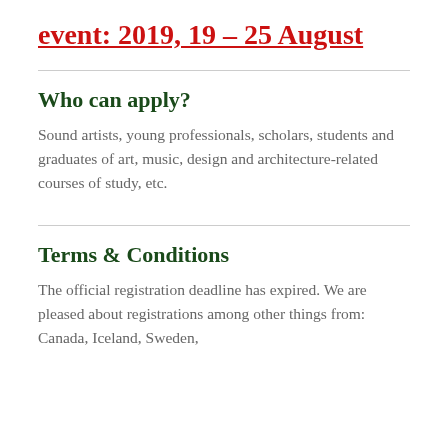event: 2019, 19 – 25 August
Who can apply?
Sound artists, young professionals, scholars, students and graduates of art, music, design and architecture-related courses of study, etc.
Terms & Conditions
The official registration deadline has expired. We are pleased about registrations among other things from: Canada, Iceland, Sweden,